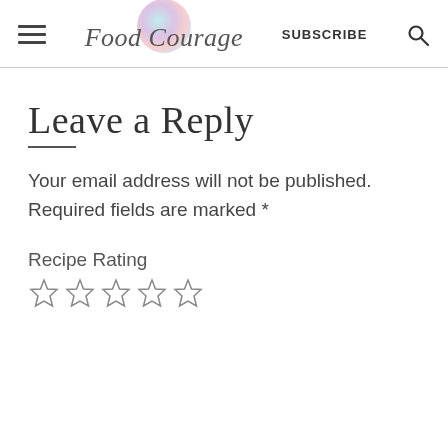Food Courage — SUBSCRIBE
Leave a Reply
Your email address will not be published. Required fields are marked *
Recipe Rating
[Figure (other): Five empty star rating icons for recipe rating]